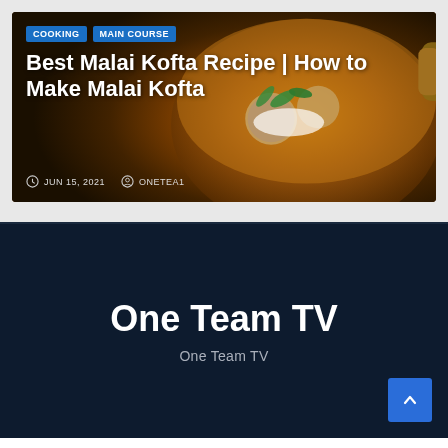[Figure (photo): Photo of a bowl of Malai Kofta curry with mint garnish, overlaid with article card showing category tags, title, date, and author]
Best Malai Kofta Recipe | How to Make Malai Kofta
JUN 15, 2021   ONETEA1
One Team TV
One Team TV